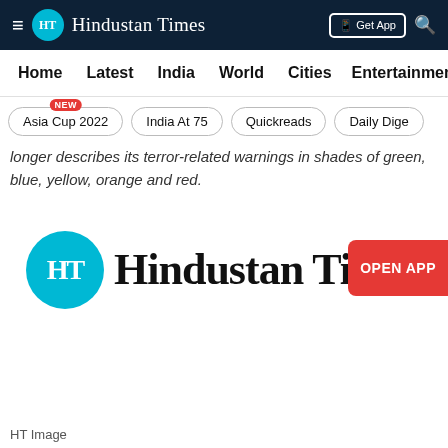≡ HT Hindustan Times | Get App 🔍
Home Latest India World Cities Entertainment
Asia Cup 2022 NEW | India At 75 | Quickreads | Daily Dige
longer describes its terror-related warnings in shades of green, blue, yellow, orange and red.
[Figure (logo): Hindustan Times logo with circular HT emblem in teal and blackletter brand name, with OPEN APP badge in red]
HT Image